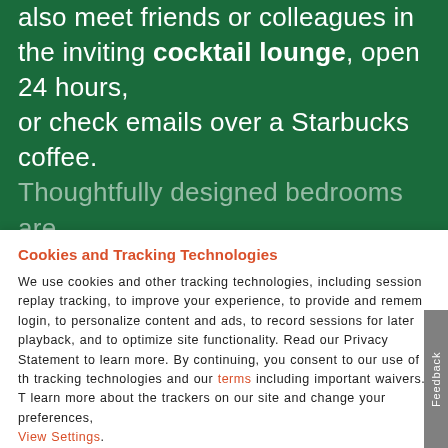also meet friends or colleagues in the inviting cocktail lounge, open 24 hours, or check emails over a Starbucks coffee. Thoughtfully designed bedrooms are
Cookies and Tracking Technologies
We use cookies and other tracking technologies, including session replay tracking, to improve your experience, to provide and remember login, to personalize content and ads, to record sessions for later playback, and to optimize site functionality. Read our Privacy Statement to learn more. By continuing, you consent to our use of the tracking technologies and our terms including important waivers. To learn more about the trackers on our site and change your preferences, View Settings.
ACCEPT
BOOK NOW